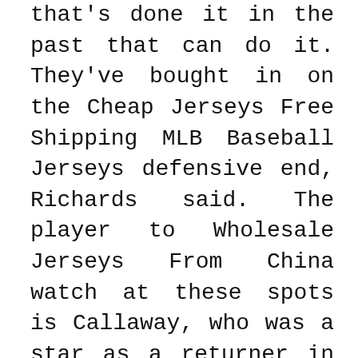that's done it in the past that can do it. They've bought in on the Cheap Jerseys Free Shipping MLB Baseball Jerseys defensive end, Richards said. The player to Wholesale Jerseys From China watch at these spots is Callaway, who was a star as a returner in his brief time at Florida. That's a very Cheap Chile Jerseys small sample size. For him to be in one place for 15 years it says Nike NFL Jerseys China MLB Baseball Jerseys a lot about him. Diekman has a 3 FIP , 1 FIP and 63 K:BB in 41 innings. Wholesale Jerseys From China Look at the scoreboard.